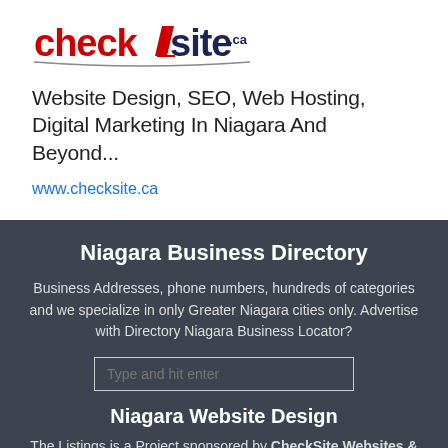[Figure (logo): CheckSite.ca logo with red and navy blue stylized text]
Website Design, SEO, Web Hosting, Digital Marketing In Niagara And Beyond...
www.checksite.ca
Niagara Business Directory
Business Addresses, phone numbers, hundreds of categories and we specialize in only Greater Niagara cities only. Advertise with Directory Niagara Business Locator?
Niagara Website Design
The Listings is a Project sponsored by CheckSite Websites &